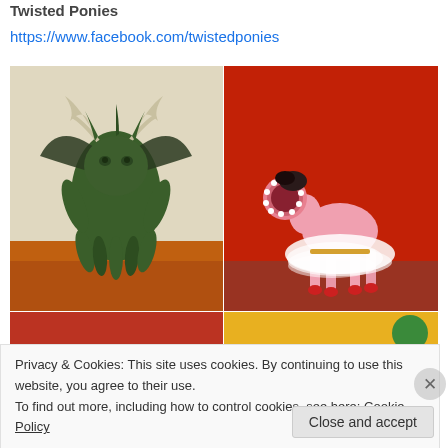Twisted Ponies
https://www.facebook.com/twistedponies
[Figure (photo): Two photos side by side: left shows a green alien/Cthulhu-like monster figurine with tentacles, wings and antlers on an orange surface; right shows a pink My Little Pony toy in a white tulle dress with a monster mouth/teeth for a face, on a red background. Below is a partial strip of two more photos.]
Privacy & Cookies: This site uses cookies. By continuing to use this website, you agree to their use.
To find out more, including how to control cookies, see here: Cookie Policy
Close and accept